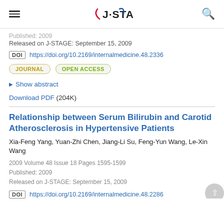J-STAGE
Published: 2009
Released on J-STAGE: September 15, 2009
DOI https://doi.org/10.2169/internalmedicine.48.2336
JOURNAL  OPEN ACCESS
Show abstract
Download PDF (204K)
Relationship between Serum Bilirubin and Carotid Atherosclerosis in Hypertensive Patients
Xia-Feng Yang, Yuan-Zhi Chen, Jiang-Li Su, Feng-Yun Wang, Le-Xin Wang
2009 Volume 48 Issue 18 Pages 1595-1599
Published: 2009
Released on J-STAGE: September 15, 2009
DOI https://doi.org/10.2169/internalmedicine.48.2286